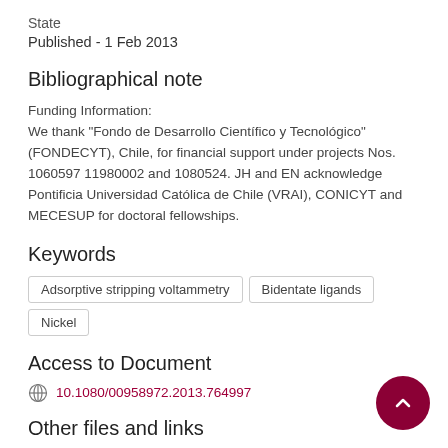State
Published - 1 Feb 2013
Bibliographical note
Funding Information:
We thank “Fondo de Desarrollo Científico y Tecnológico” (FONDECYT), Chile, for financial support under projects Nos. 1060597 11980002 and 1080524. JH and EN acknowledge Pontificia Universidad Católica de Chile (VRAI), CONICYT and MECESUP for doctoral fellowships.
Keywords
Adsorptive stripping voltammetry
Bidentate ligands
Nickel
Access to Document
10.1080/00958972.2013.764997
Other files and links
Link to publication in Scopus